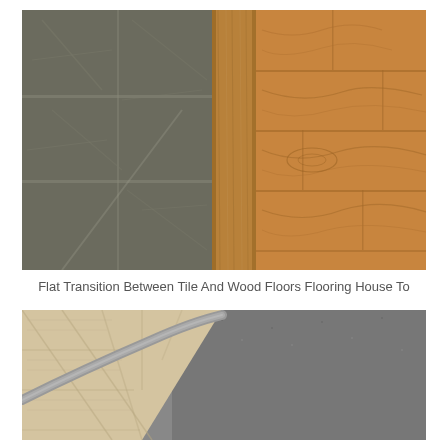[Figure (photo): Photo showing a flat transition strip between dark grey stone tile flooring on the left and warm honey-colored hardwood wood floor planks on the right. A wooden transition bar runs vertically down the center of the image.]
Flat Transition Between Tile And Wood Floors Flooring House To
[Figure (photo): Photo showing a flooring transition between light-colored wood-look vinyl plank flooring on the left and grey carpet on the right, with a curved grey transition strip in between.]